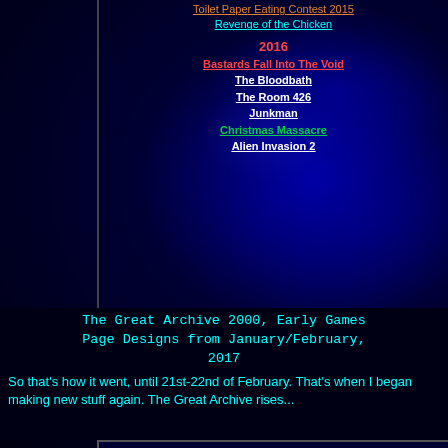Toilet Paper Eating Contest 2015
Revenge of the Chicken
2016
Bastards Fall Into The Void
The Bloodbath
The Room 426
Junkman
Christmas Massacre
Alien Invasion 2
The Great Archive 2000, Early Games Page Designs from January/February, 2017
So that's how it went, until 21st-22nd of February. That's when I began making new stuff again. The Great Archive rises...
WELCOME TO THE GREAT ARCHIVE!!!
Choose your destination...
INFORMATION
FUN
News
FAQ
Game Archive
Art Gallery
Music
Doom Wads
Home